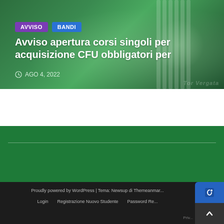[Figure (photo): Hero image with green tinted background showing architectural/interior elements with vertical lines, overlaid with tags AVVISO and BANDI, article title, and date]
Avviso apertura corsi singoli per acquisizione CFU obbligatori per
AGO 4, 2022
Proudly powered by WordPress | Tema: Newsup di Themeanmar
Login   Registrazione Nuovo Studente   Password Re...